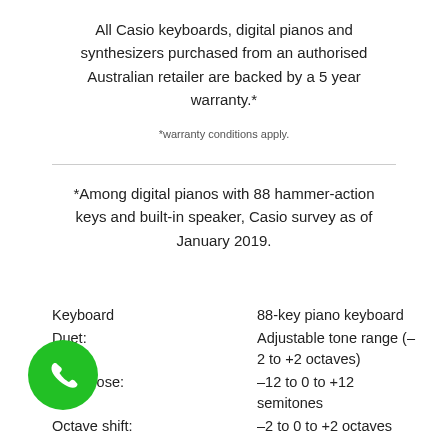All Casio keyboards, digital pianos and synthesizers purchased from an authorised Australian retailer are backed by a 5 year warranty.*
*warranty conditions apply.
*Among digital pianos with 88 hammer-action keys and built-in speaker, Casio survey as of January 2019.
|  |  |
| --- | --- |
| Keyboard | 88-key piano keyboard |
| Duet: | Adjustable tone range (–2 to +2 octaves) |
| Transpose: | –12 to 0 to +12 semitones |
| Octave shift: | –2 to 0 to +2 octaves |
[Figure (other): Green circular phone/call button icon in bottom left corner]